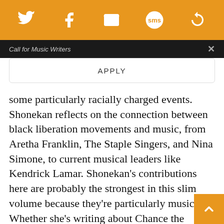[Figure (screenshot): Orange navigation bar with social media icons: Twitter bird, Facebook f, envelope/email, SMS speech bubble, and a circular arrow/refresh icon, all in white on orange background]
Call for Music Writers
APPLY
some particularly racially charged events. Shonekan reflects on the connection between black liberation movements and music, from Aretha Franklin, The Staple Singers, and Nina Simone, to current musical leaders like Kendrick Lamar. Shonekan’s contributions here are probably the strongest in this slim volume because they’re particularly musical. Whether she’s writing about Chance the Rapper’s The Coloring Book or Beyonce’s Lemonade, she makes clear conne[ctions] between gospel and hi- hop to express the ongoing